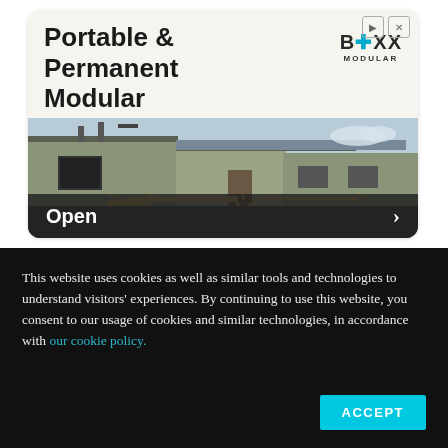[Figure (photo): Advertisement card for BOXX Modular showing portable and permanent modular classrooms. The ad shows a photo of modular classroom buildings with wooden ramps/stairs and an 'Open' button overlay at the bottom.]
This website uses cookies as well as similar tools and technologies to understand visitors' experiences. By continuing to use this website, you consent to our usage of cookies and similar technologies, in accordance with our cookie policy.